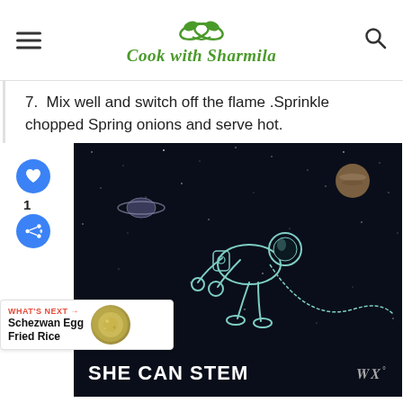Cook with Sharmila
7.  Mix well and switch off the flame .Sprinkle chopped Spring onions and serve hot.
[Figure (illustration): Space-themed illustration: astronaut floating in dark space with planets, drawn in teal/white line art on a dark navy background. Below shows 'SHE CAN STEM' text banner in white bold letters with a media logo.]
WHAT'S NEXT → Schezwan Egg Fried Rice